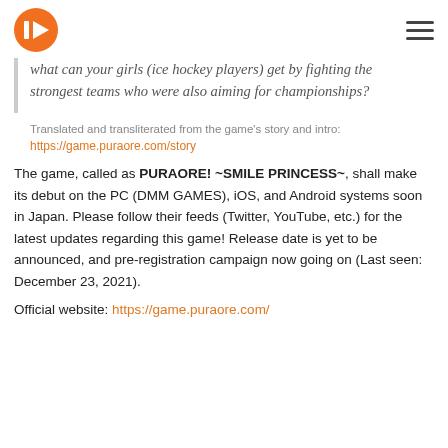Logo and navigation header
what can your girls (ice hockey players) get by fighting the strongest teams who were also aiming for championships?
Translated and transliterated from the game's story and intro:
https://game.puraore.com/story
The game, called as PURAORE! ~SMILE PRINCESS~, shall make its debut on the PC (DMM GAMES), iOS, and Android systems soon in Japan. Please follow their feeds (Twitter, YouTube, etc.) for the latest updates regarding this game! Release date is yet to be announced, and pre-registration campaign now going on (Last seen: December 23, 2021).
Official website: https://game.puraore.com/